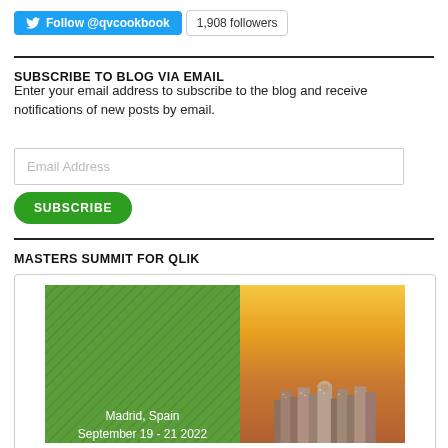[Figure (other): Twitter Follow button for @qvcookbook with 1,908 followers badge]
SUBSCRIBE TO BLOG VIA EMAIL
Enter your email address to subscribe to the blog and receive notifications of new posts by email.
[Figure (other): Email Address input field]
[Figure (other): Green SUBSCRIBE button]
MASTERS SUMMIT FOR QLIK
[Figure (photo): Masters Summit for Qlik banner image split: left green background with text 'Madrid, Spain September 19 - 21 2022', right photo of Madrid cityscape at sunset]